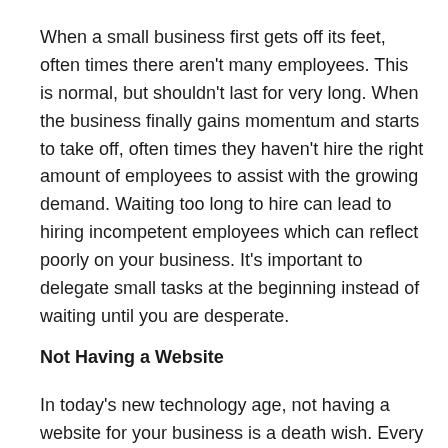When a small business first gets off its feet, often times there aren't many employees. This is normal, but shouldn't last for very long. When the business finally gains momentum and starts to take off, often times they haven't hire the right amount of employees to assist with the growing demand. Waiting too long to hire can lead to hiring incompetent employees which can reflect poorly on your business. It's important to delegate small tasks at the beginning instead of waiting until you are desperate.
Not Having a Website
In today's new technology age, not having a website for your business is a death wish. Every business, no matter